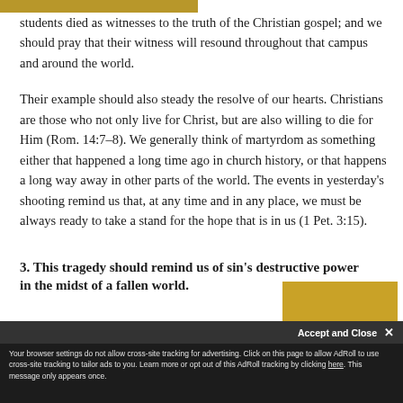students died as witnesses to the truth of the Christian gospel; and we should pray that their witness will resound throughout that campus and around the world.
Their example should also steady the resolve of our hearts. Christians are those who not only live for Christ, but are also willing to die for Him (Rom. 14:7–8). We generally think of martyrdom as something either that happened a long time ago in church history, or that happens a long way away in other parts of the world. The events in yesterday's shooting remind us that, at any time and in any place, we must be always ready to take a stand for the hope that is in us (1 Pet. 3:15).
3. This tragedy should remind us of sin's destructive power in the midst of a fallen world.
Your browser settings do not allow cross-site tracking for advertising. Click on this page to allow AdRoll to use cross-site tracking to tailor ads to you. Learn more or opt out of this AdRoll tracking by clicking here. This message only appears once.